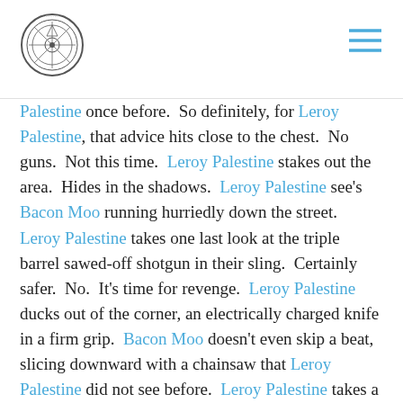[Logo] [Hamburger menu]
Palestine once before.  So definitely, for Leroy Palestine, that advice hits close to the chest.  No guns.  Not this time.  Leroy Palestine stakes out the area.  Hides in the shadows.  Leroy Palestine see's Bacon Moo running hurriedly down the street.  Leroy Palestine takes one last look at the triple barrel sawed-off shotgun in their sling.  Certainly safer.  No.  It's time for revenge.  Leroy Palestine ducks out of the corner, an electrically charged knife in a firm grip.  Bacon Moo doesn't even skip a beat, slicing downward with a chainsaw that Leroy Palestine did not see before.  Leroy Palestine takes a long horrified look at their severed limb on the ground, still clutching the knife, and then once more up to see Bacon Moo escaping with the package still in tow far down the road.  Don't worry.  The Intergalactic Postal